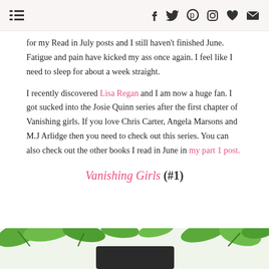navigation/social icons bar
for my Read in July posts and I still haven't finished June. Fatigue and pain have kicked my ass once again. I feel like I need to sleep for about a week straight.
I recently discovered Lisa Regan and I am now a huge fan. I got sucked into the Josie Quinn series after the first chapter of Vanishing girls. If you love Chris Carter, Angela Marsons and M.J Arlidge then you need to check out this series. You can also check out the other books I read in June in my part 1 post.
Vanishing Girls (#1)
[Figure (photo): Bottom portion of an image showing green leaves/foliage with a dark object (book/device) visible, on a light background]